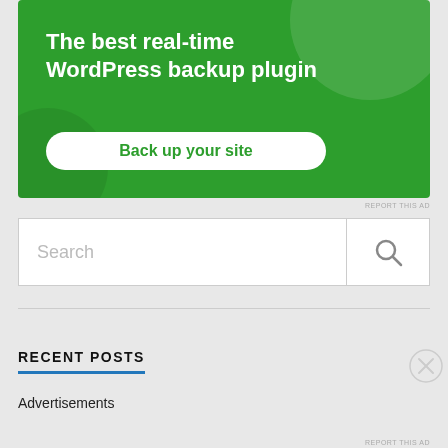[Figure (screenshot): Green advertisement banner for WordPress backup plugin with white text and a white button reading 'Back up your site']
REPORT THIS AD
Search
RECENT POSTS
Advertisements
REPORT THIS AD